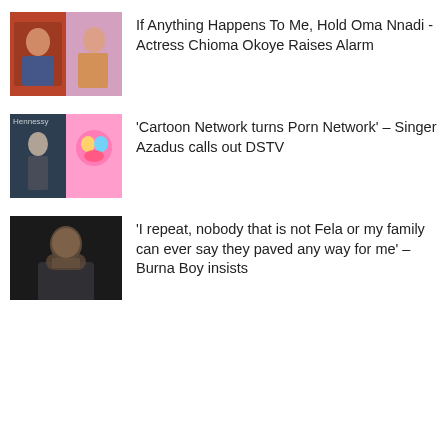[Figure (photo): Two women collage photo]
If Anything Happens To Me, Hold Oma Nnadi - Actress Chioma Okoye Raises Alarm
[Figure (photo): Collage of a man at Hennessy event and cartoon characters]
'Cartoon Network turns Porn Network' – Singer Azadus calls out DSTV
[Figure (photo): Portrait of Burna Boy]
'I repeat, nobody that is not Fela or my family can ever say they paved any way for me' – Burna Boy insists